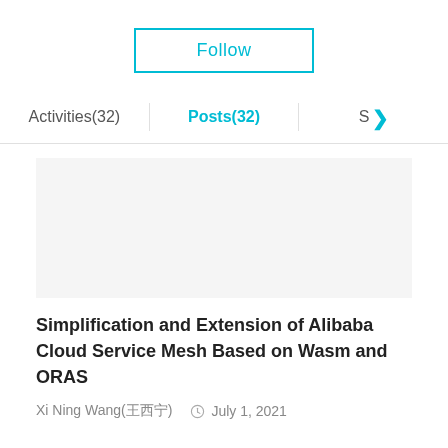Follow
Activities(32)   Posts(32)   S >
[Figure (other): Blank thumbnail placeholder image area]
Simplification and Extension of Alibaba Cloud Service Mesh Based on Wasm and ORAS
Xi Ning Wang(王西宁)   July 1, 2021